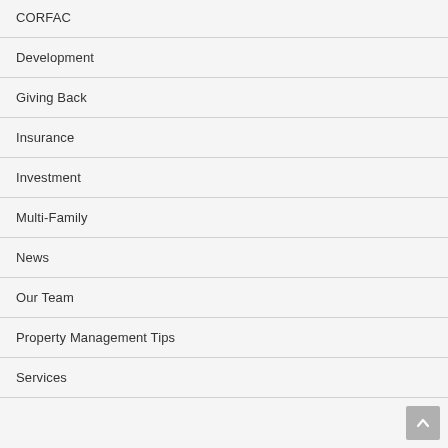CORFAC
Development
Giving Back
Insurance
Investment
Multi-Family
News
Our Team
Property Management Tips
Services